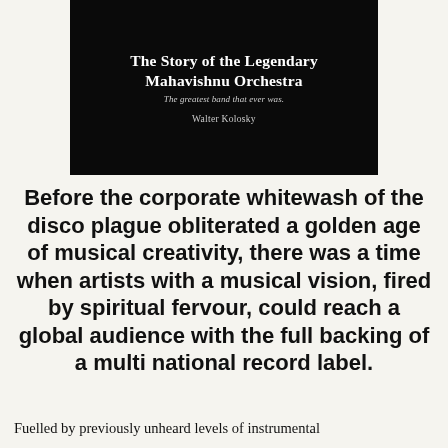[Figure (photo): Book cover of 'The Story of the Legendary Mahavishnu Orchestra – The greatest band that ever was' by Walter Kolosky. Dark/black background with white text.]
Before the corporate whitewash of the disco plague obliterated a golden age of musical creativity, there was a time when artists with a musical vision, fired by spiritual fervour, could reach a global audience with the full backing of a multi national record label.
Fuelled by previously unheard levels of instrumental